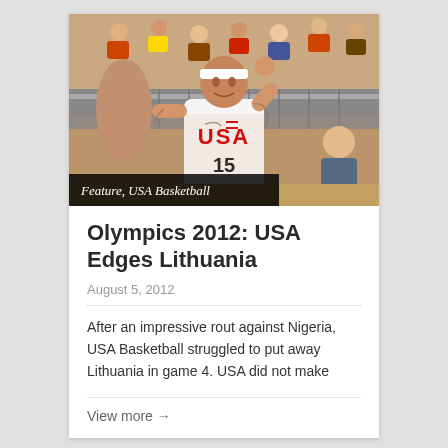[Figure (photo): Basketball player wearing USA #15 jersey with white headband, raising hand in gesture, crowd visible in background]
Feature, USA Basketball
Olympics 2012: USA Edges Lithuania
August 5, 2012
After an impressive rout against Nigeria, USA Basketball struggled to put away Lithuania in game 4. USA did not make
View more →